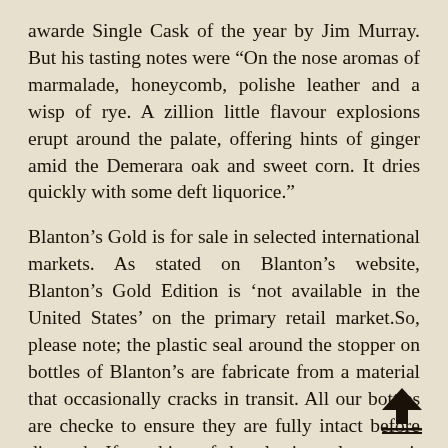awarde Single Cask of the year by Jim Murray. But his tasting notes were “On the nose aromas of marmalade, honeycomb, polishe leather and a wisp of rye. A zillion little flavour explosions erupt around the palate, offering hints of ginger amid the Demerara oak and sweet corn. It dries quickly with some deft liquorice.”
Blanton’s Gold is for sale in selected international markets. As stated on Blanton’s website, Blanton’s Gold Edition is ‘not available in the United States’ on the primary retail market.So, please note; the plastic seal around the stopper on bottles of Blanton’s are fabricate from a material that occasionally cracks in transit. All our bottles are checke to ensure they are fully intact before dispatch. If cracking of the plastic seal occurs it does not affect the whiskey in anyway.We sometimes include a complementary Blanton’s box.
[Figure (illustration): A solid black upward-pointing arrow icon with a double underline, positioned at the bottom right corner of the page.]